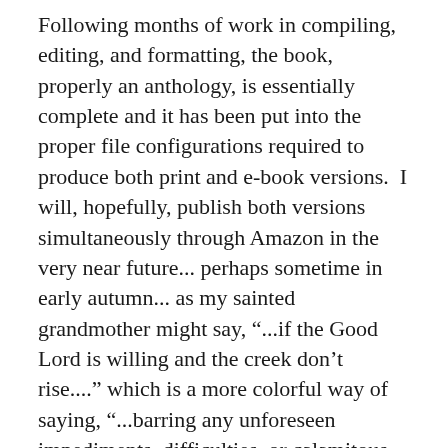Following months of work in compiling, editing, and formatting, the book, properly an anthology, is essentially complete and it has been put into the proper file configurations required to produce both print and e-book versions.  I will, hopefully, publish both versions simultaneously through Amazon in the very near future... perhaps sometime in early autumn... as my sainted grandmother might say, “...if the Good Lord is willing and the creek don’t rise....” which is a more colorful way of saying, “...barring any unforeseen impediments, difficulties, or calamitous events.”  We’ve seen a few of those in recent months, calamitous events.
The print version of book will be soft cover